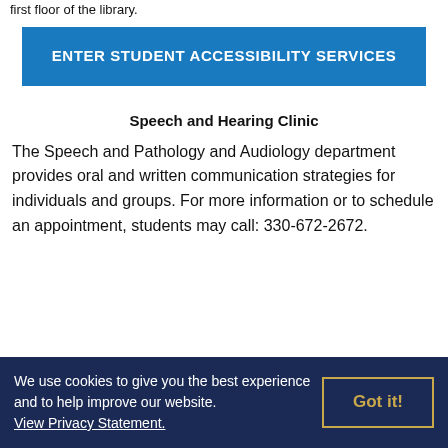first floor of the library.
ENTER STUDENT ACCESSIBILITY SERVICES
Speech and Hearing Clinic
The Speech and Pathology and Audiology department provides oral and written communication strategies for individuals and groups. For more information or to schedule an appointment, students may call: 330-672-2672.
We use cookies to give you the best experience and to help improve our website. View Privacy Statement.
Got it!